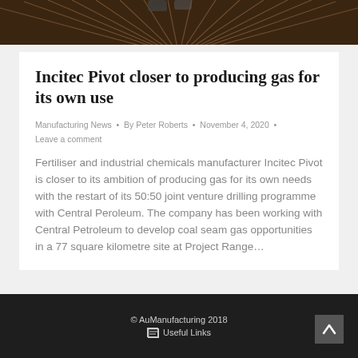[Figure (photo): Industrial scene showing radiating metal rods or pipes on a dark background, with a worker's legs visible at the top]
Incitec Pivot closer to producing gas for its own use
Manufacturing News  •  By Peter Roberts  •  November 4, 2020  •  Leave a comment
Fertiliser and industrial chemicals manufacturer Incitec Pivot is closer to its ambition of producing gas for its own needs with the restart of its 50:50 joint venture drilling programme with Central Peroleum. The company has been working with Central Petroleum to develop coal seam gas opportunities in a 77 square kilometre site at Project Range…
© AuManufacturing 2018  Useful Links